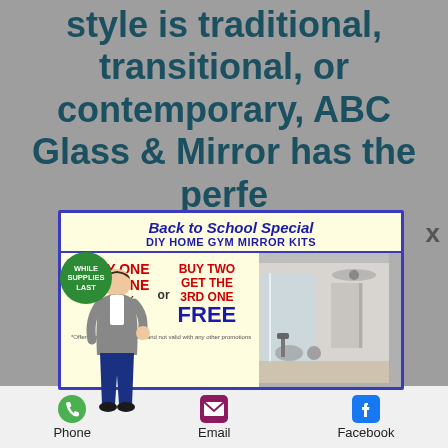style is traditional, transitional, or contemporary, ABC Glass & Mirror has the perfe…
[Figure (infographic): Back to School Special popup ad for DIY Home Gym Mirror Kits. Buy One Get One 50% OFF or Buy Two Get The 3rd One FREE. *Offers cannot be combined and not valid with any other promotions. Includes image of home gym with mirrors. Features a cartoon person illustration and 'While Supplies Last' green badge.]
[Figure (photo): Interior room photo showing wooden cabinetry and glass/mirror installation in background]
Phone   Email   Facebook